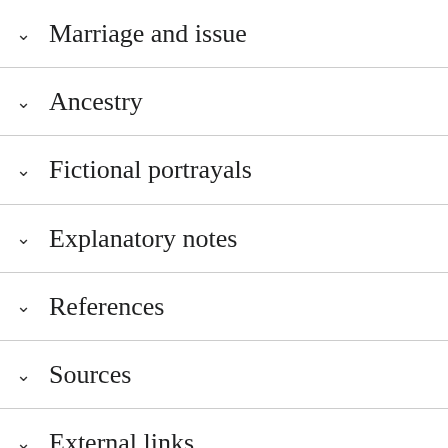Marriage and issue
Ancestry
Fictional portrayals
Explanatory notes
References
Sources
External links